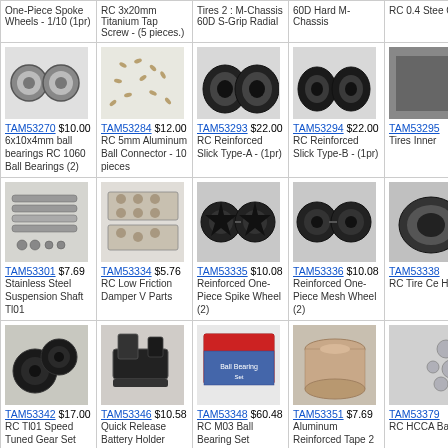| One-Piece Spoke Wheels - 1/10 (1pr) | RC 3x20mm Titanium Tap Screw - (5 pieces.) | Tires 2 : M-Chassis 60D S-Grip Radial | 60D Hard M-Chassis | RC 0.4 Stee Gears |
| TAM53270 $10.00 6x10x4mm ball bearings RC 1060 Ball Bearings (2) | TAM53284 $12.00 RC 5mm Aluminum Ball Connector - 10 pieces | TAM53293 $22.00 RC Reinforced Slick Type-A - (1pr) | TAM53294 $22.00 RC Reinforced Slick Type-B - (1pr) | TAM53295 Tires Inner |
| TAM53301 $7.69 Stainless Steel Suspension Shaft Tl01 | TAM53334 $5.76 RC Low Friction Damper V Parts | TAM53335 $10.08 Reinforced One-Piece Spike Wheel (2) | TAM53336 $10.08 Reinforced One-Piece Mesh Wheel (2) | TAM53338 RC Tire Ce Helper |
| TAM53342 $17.00 RC Tl01 Speed Tuned Gear Set | TAM53346 $10.58 Quick Release Battery Holder | TAM53348 $60.48 RC M03 Ball Bearing Set | TAM53351 $7.69 Aluminum Reinforced Tape 2 Meters | TAM53379 RC HCCA Ball |
| TAM53405 $16.00 Aluminum Pinion Gear 0.4 34t/35t | TAM53406 $14.00 0.4 Alum Pinion Gear 36/37T | TAM53407 $14.00 0.4 Alum Pinion Gear 38/39T | TAM53422 $14.00 0.4 Pinion Gear (44T 45T) TA04 | TAM53433 Medium Na Type A - pa |